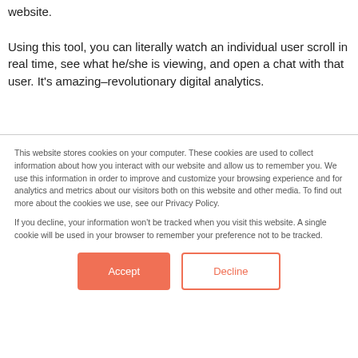website. Using this tool, you can literally watch an individual user scroll in real time, see what he/she is viewing, and open a chat with that user. It’s amazing–revolutionary digital analytics.
This website stores cookies on your computer. These cookies are used to collect information about how you interact with our website and allow us to remember you. We use this information in order to improve and customize your browsing experience and for analytics and metrics about our visitors both on this website and other media. To find out more about the cookies we use, see our Privacy Policy.
If you decline, your information won’t be tracked when you visit this website. A single cookie will be used in your browser to remember your preference not to be tracked.